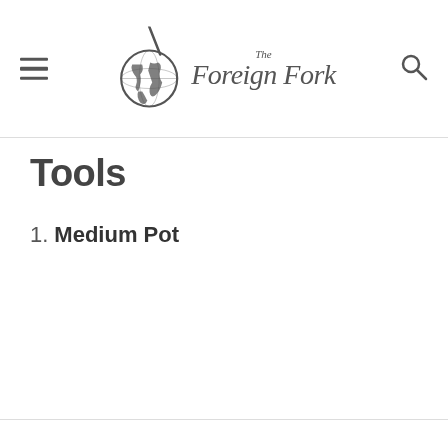The Foreign Fork
Tools
Medium Pot